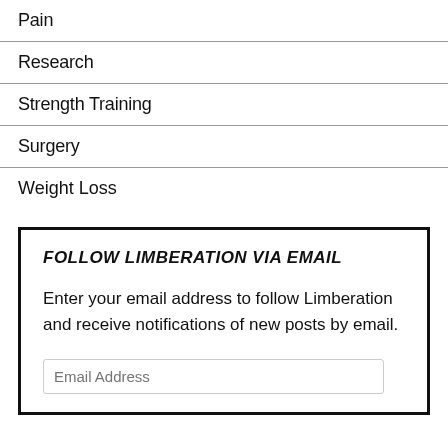Pain
Research
Strength Training
Surgery
Weight Loss
FOLLOW LIMBERATION VIA EMAIL
Enter your email address to follow Limberation and receive notifications of new posts by email.
Email Address